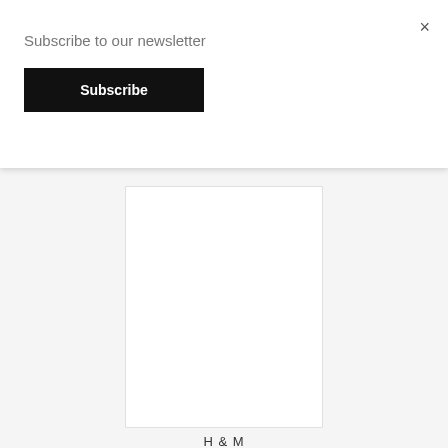Subscribe to our newsletter
Subscribe
×
[Figure (photo): White product image placeholder box]
H&M